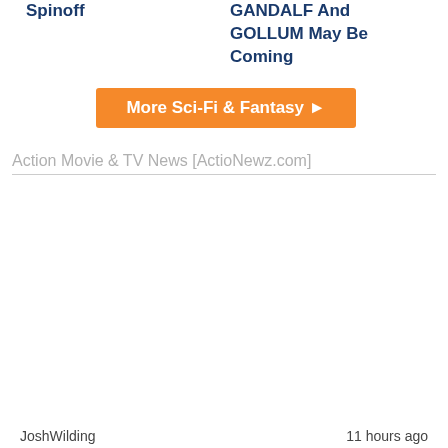Spinoff
GANDALF And GOLLUM May Be Coming
More Sci-Fi & Fantasy ▶
Action Movie & TV News [ActioNewz.com]
JoshWilding
11 hours ago